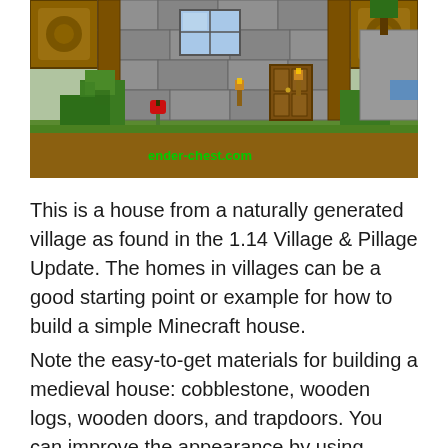[Figure (screenshot): A Minecraft village house scene showing a stone and wood structure with green vegetation, wooden doors, torches, and a red flower. Watermark text 'ender-chest.com' in green is overlaid on the lower-left of the image.]
This is a house from a naturally generated village as found in the 1.14 Village & Pillage Update. The homes in villages can be a good starting point or example for how to build a simple Minecraft house.
Note the easy-to-get materials for building a medieval house: cobblestone, wooden logs, wooden doors, and trapdoors. You can improve the appearance by using smooth stone (by cooking cobblestone in a furnace) or stone bricks